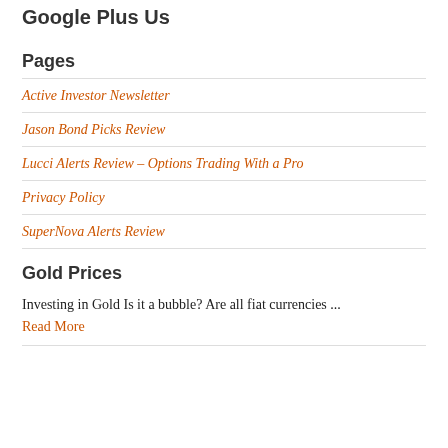Google Plus Us
Pages
Active Investor Newsletter
Jason Bond Picks Review
Lucci Alerts Review – Options Trading With a Pro
Privacy Policy
SuperNova Alerts Review
Gold Prices
Investing in Gold Is it a bubble? Are all fiat currencies ...
Read More